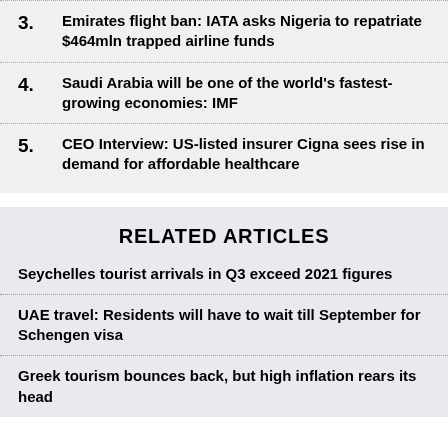3. Emirates flight ban: IATA asks Nigeria to repatriate $464mln trapped airline funds
4. Saudi Arabia will be one of the world's fastest-growing economies: IMF
5. CEO Interview: US-listed insurer Cigna sees rise in demand for affordable healthcare
RELATED ARTICLES
Seychelles tourist arrivals in Q3 exceed 2021 figures
UAE travel: Residents will have to wait till September for Schengen visa
Greek tourism bounces back, but high inflation rears its head